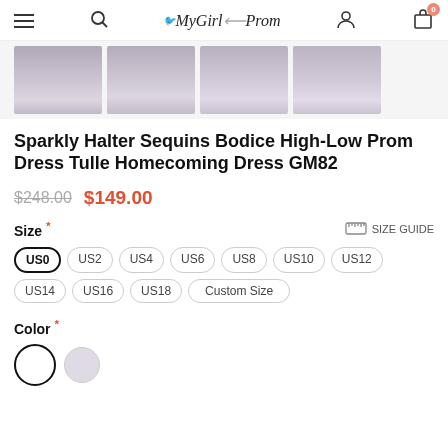MyGirlProm — navigation header with hamburger menu, search, logo, account, and cart (0 items)
[Figure (photo): Four thumbnail images of a sparkly halter high-low prom dress in grey/lavender tulle]
Sparkly Halter Sequins Bodice High-Low Prom Dress Tulle Homecoming Dress GM82
$248.00  $149.00
Size * SIZE GUIDE
US0 US2 US4 US6 US8 US10 US12 US14 US16 US18 Custom Size
Color *